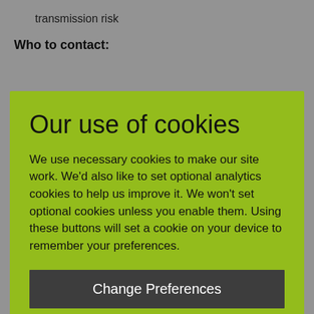transmission risk
Who to contact:
Our use of cookies
We use necessary cookies to make our site work. We'd also like to set optional analytics cookies to help us improve it. We won't set optional cookies unless you enable them. Using these buttons will set a cookie on your device to remember your preferences.
Change Preferences
Accept All
face to face support on an exception basis for t students in year 12 who have examinations and